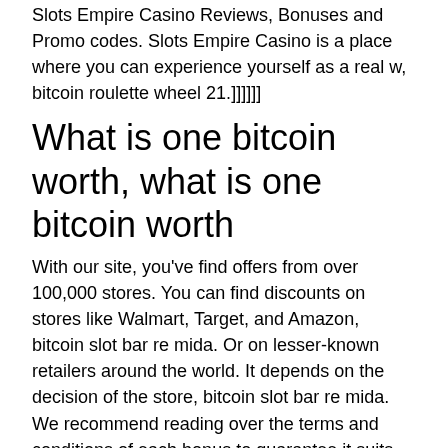Slots Empire Casino Reviews, Bonuses and Promo codes. Slots Empire Casino is a place where you can experience yourself as a real w, bitcoin roulette wheel 21.]]]]]]
What is one bitcoin worth, what is one bitcoin worth
With our site, you've find offers from over 100,000 stores. You can find discounts on stores like Walmart, Target, and Amazon, bitcoin slot bar re mida. Or on lesser-known retailers around the world. It depends on the decision of the store, bitcoin slot bar re mida. We recommend reading over the terms and conditions of each bonus to guarantee it suits your play style, what is one bitcoin worth. Only bitcoin is entirely digital; no one is carrying actual bitcoins. How much us dollar is 1 btc? check the latest us dollar (usd) price in bitcoin (btc)! exchange rate by walletinvestor. Bitcoin has gained ground among today's investors. Recently, bitcoin's